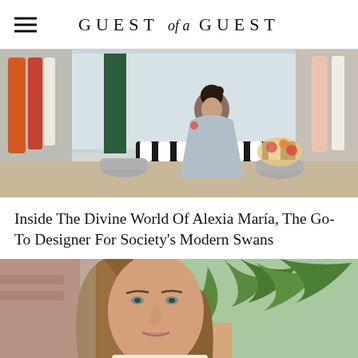GUEST of a GUEST
[Figure (photo): Woman in a light blue strapless dress sitting in a fashion boutique surrounded by colorful dresses on racks]
Inside The Divine World Of Alexia María, The Go-To Designer For Society's Modern Swans
[Figure (photo): Close-up portrait of a young woman with long brown hair, smiling, with palm leaves and a building in the background]